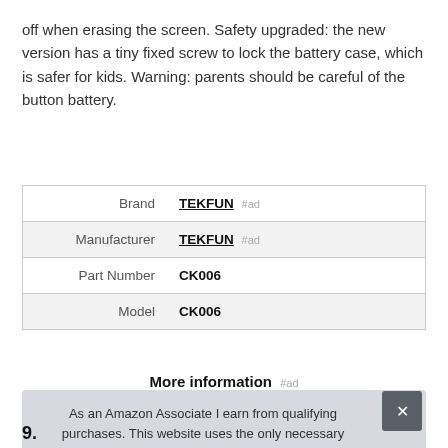off when erasing the screen. Safety upgraded: the new version has a tiny fixed screw to lock the battery case, which is safer for kids. Warning: parents should be careful of the button battery.
|  |  |
| --- | --- |
| Brand | TEKFUN #ad |
| Manufacturer | TEKFUN #ad |
| Part Number | CK006 |
| Model | CK006 |
More information #ad
As an Amazon Associate I earn from qualifying purchases. This website uses the only necessary cookies to ensure you get the best experience on our website. More information
9.